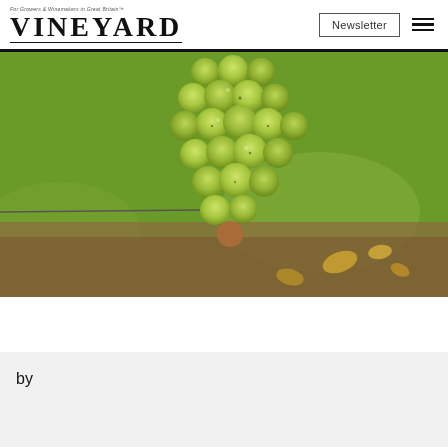VINEYARD — For Growers & Winemakers in Great Britain
[Figure (photo): Close-up photograph of a cluster of green/yellow-green grapes hanging on a vine, with green grass and fallen leaves visible in the background]
by